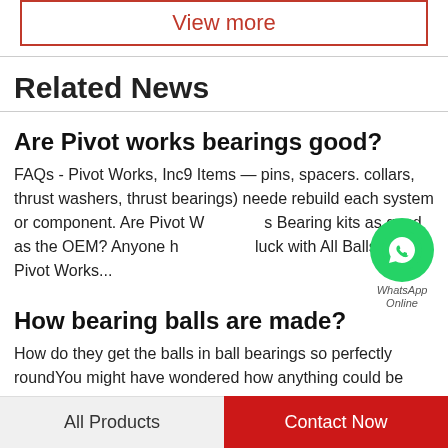View more
Related News
Are Pivot works bearings good?
FAQs - Pivot Works, Inc9 Items — pins, spacers. collars, thrust washers, thrust bearings) needed rebuild each system or component. Are Pivot Works Bearing kits as good as the OEM? Anyone has luck with All Balls or Pivot Works...
[Figure (logo): WhatsApp green circle icon with phone handset, labeled 'WhatsApp Online']
How bearing balls are made?
How do they get the balls in ball bearings so perfectly roundYou might have wondered how anything could be
All Products
Contact Now